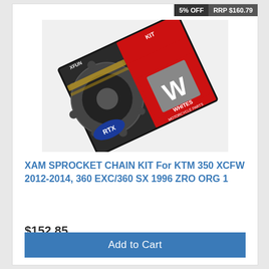5% OFF   RRP $160.79
[Figure (photo): Product box for XAM Sprocket Chain Kit with RTX chain branding and Whites Motorcycle Parts logo on a red and black box]
XAM SPROCKET CHAIN KIT For KTM 350 XCFW 2012-2014, 360 EXC/360 SX 1996 ZRO ORG 1
$152.85
Add to Cart